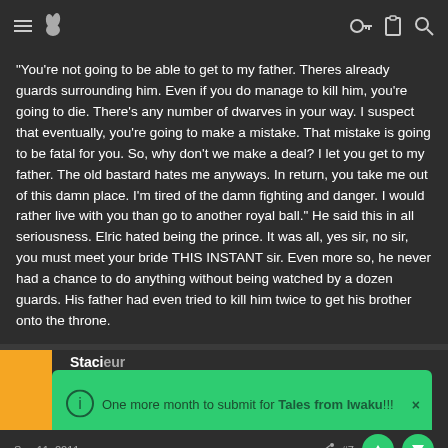navigation header with menu, avatar, key, clipboard, and search icons
"You're not going to be able to get to my father. Theres already guards surrounding him. Even if you do manage to kill him, you're going to die. There's any number of dwarves in your way. I suspect that eventually, you're going to make a mistake. That mistake is going to be fatal for you. So, why don't we make a deal? I let you get to my father. The old bastard hates me anyways. In return, you take me out of this damn place. I'm tired of the damn fighting and danger. I would rather live with you than go to another royal ball." He said this in all seriousness. Elric hated being the prince. It was all, yes sir, no sir, you must meet your bride THIS INSTANT sir. Even more so, he never had a chance to do anything without being watched by a dozen guards. His father had even tried to kill him twice to get his brother onto the throne.
One more month to submit for Tales from Iwaku!!!
Sep 11, 2011   #7